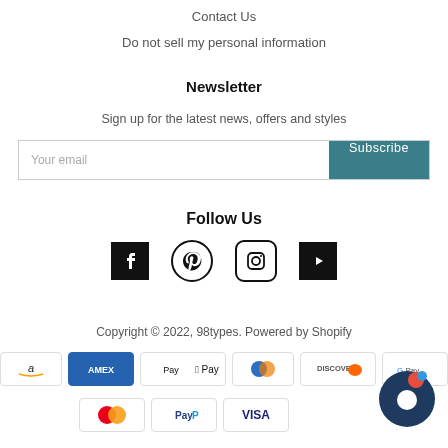Contact Us
Do not sell my personal information
Newsletter
Sign up for the latest news, offers and styles
Your email
Subscribe
Follow Us
[Figure (infographic): Social media icons: Facebook, Pinterest, Instagram, YouTube]
Copyright © 2022, 98types. Powered by Shopify
[Figure (infographic): Payment method icons: Amazon, American Express, Apple Pay, Diners Club, Discover, Google Pay, Mastercard, PayPal, Visa]